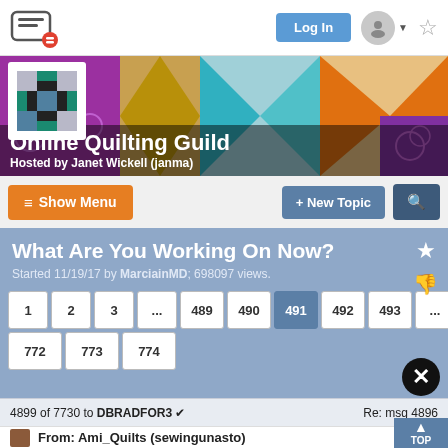[Figure (screenshot): Website navigation bar with messaging app logo, Log In button, avatar icon, and star/bookmark icon]
[Figure (photo): Online Quilting Guild banner with colorful quilt pattern background, guild logo, title and host info]
Online Quilting Guild
Hosted by Janet Wickell (janma)
[Figure (screenshot): Toolbar with Show Menu button (orange), New Topic button (blue), and Search button (dark blue)]
What Are You Working On Now?
Started 11/19/17 by MarciainMD; 698097 views.
[Figure (screenshot): Pagination bar with pages 1, 2, 3, ..., 489, 490, 491 (active), 492, 493, ..., 772, 773, 774]
4899 of 7730 to DBRADFOR3
Re: msg 4896
From: Ami_Quilts (sewingunasto)